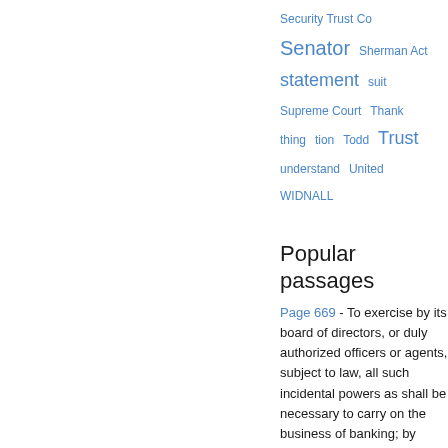Security Trust Co  Senator  Sherman Act  statement  suit  Supreme Court  Thank  thing  tion  Todd  Trust  understand  United  WIDNALL
Popular passages
Page 669 - To exercise by its board of directors, or duly authorized officers or agents, subject to law, all such incidental powers as shall be necessary to carry on the business of banking; by discounting